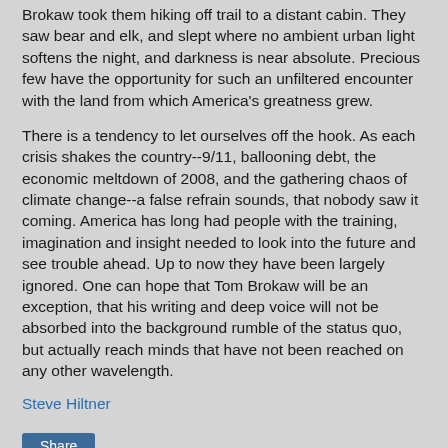Brokaw took them hiking off trail to a distant cabin. They saw bear and elk, and slept where no ambient urban light softens the night, and darkness is near absolute. Precious few have the opportunity for such an unfiltered encounter with the land from which America's greatness grew.
There is a tendency to let ourselves off the hook. As each crisis shakes the country--9/11, ballooning debt, the economic meltdown of 2008, and the gathering chaos of climate change--a false refrain sounds, that nobody saw it coming. America has long had people with the training, imagination and insight needed to look into the future and see trouble ahead. Up to now they have been largely ignored. One can hope that Tom Brokaw will be an exception, that his writing and deep voice will not be absorbed into the background rumble of the status quo, but actually reach minds that have not been reached on any other wavelength.
Steve Hiltner
Share